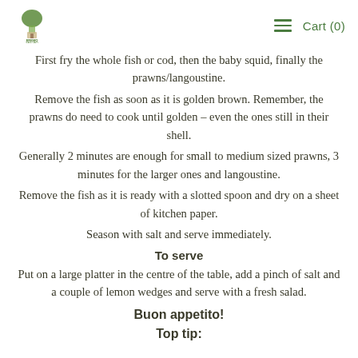Logo | Cart (0)
First fry the whole fish or cod, then the baby squid, finally the prawns/langoustine.
Remove the fish as soon as it is golden brown. Remember, the prawns do need to cook until golden – even the ones still in their shell.
Generally 2 minutes are enough for small to medium sized prawns, 3 minutes for the larger ones and langoustine.
Remove the fish as it is ready with a slotted spoon and dry on a sheet of kitchen paper.
Season with salt and serve immediately.
To serve
Put on a large platter in the centre of the table, add a pinch of salt and a couple of lemon wedges and serve with a fresh salad.
Buon appetito!
Top tip: